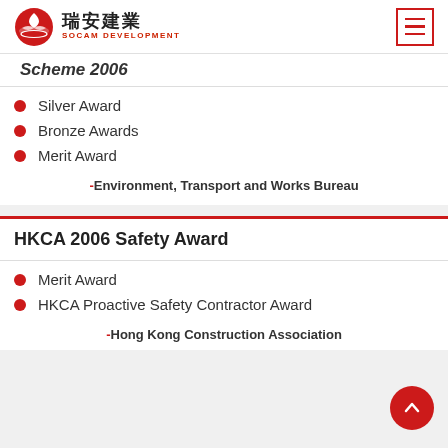瑞安建業 SOCAM DEVELOPMENT
Scheme 2006
Silver Award
Bronze Awards
Merit Award
-Environment, Transport and Works Bureau
HKCA 2006 Safety Award
Merit Award
HKCA Proactive Safety Contractor Award
-Hong Kong Construction Association